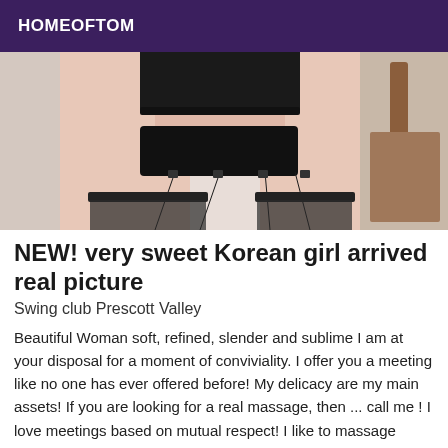HOMEOFTOM
[Figure (photo): Photo showing a woman's lower body wearing black lingerie, suspenders, and stockings, kneeling on a surface with a wooden chair visible in the background.]
NEW! very sweet Korean girl arrived real picture
Swing club Prescott Valley
Beautiful Woman soft, refined, slender and sublime I am at your disposal for a moment of conviviality. I offer you a meeting like no one has ever offered before! My delicacy are my main assets! If you are looking for a real massage, then ... call me ! I love meetings based on mutual respect! I like to massage gentlemen who know how to be considerate! You will discover a universe of